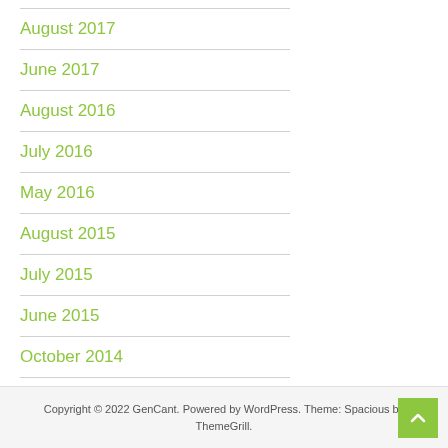August 2017
June 2017
August 2016
July 2016
May 2016
August 2015
July 2015
June 2015
October 2014
Copyright © 2022 GenCant. Powered by WordPress. Theme: Spacious by ThemeGrill.